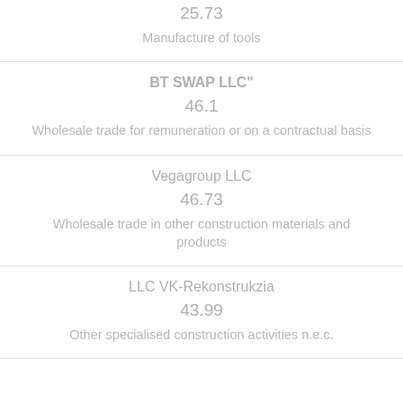25.73
Manufacture of tools
BT SWAP LLC"
46.1
Wholesale trade for remuneration or on a contractual basis
Vegagroup LLC
46.73
Wholesale trade in other construction materials and products
LLC VK-Rekonstrukzia
43.99
Other specialised construction activities n.e.c.